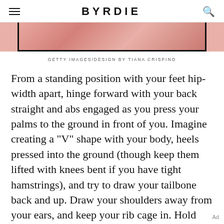BYRDIE
[Figure (photo): Partial view of a pink/coral floral or abstract image with a black rectangular border frame visible at the bottom edge]
GETTY IMAGES/DESIGN BY TIANA CRISPINO
From a standing position with your feet hip-width apart, hinge forward with your back straight and abs engaged as you press your palms to the ground in front of you. Imagine creating a "V" shape with your body, heels pressed into the ground (though keep them lifted with knees bent if you have tight hamstrings), and try to draw your tailbone back and up. Draw your shoulders away from your ears, and keep your rib cage in. Hold this pose for five to 10